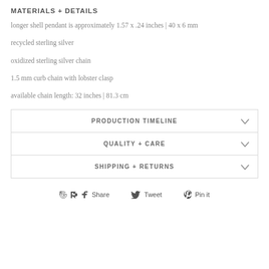MATERIALS + DETAILS
longer shell pendant is approximately 1.57 x .24 inches | 40 x 6 mm
recycled sterling silver
oxidized sterling silver chain
1.5 mm curb chain with lobster clasp
available chain length: 32 inches | 81.3 cm
PRODUCTION TIMELINE
QUALITY + CARE
SHIPPING + RETURNS
Share  Tweet  Pin it